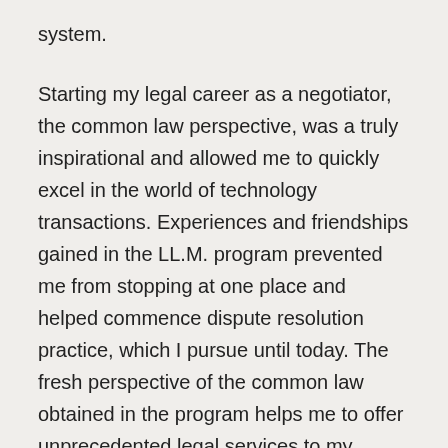system.
Starting my legal career as a negotiator, the common law perspective, was a truly inspirational and allowed me to quickly excel in the world of technology transactions. Experiences and friendships gained in the LL.M. program prevented me from stopping at one place and helped commence dispute resolution practice, which I pursue until today. The fresh perspective of the common law obtained in the program helps me to offer unprecedented legal services to my clients to this day.
The program itself may be a challenging experience for a civil law lawyer, who would usually be more used to rather theoretical, than practical studies.